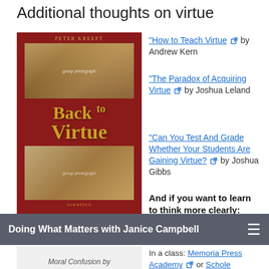Additional thoughts on virtue
[Figure (photo): Book cover: Back to Virtue, red cover with group photo]
Back to Virtue:
"How to Teach Virtue [external link] by Andrew Kern
"The Paradox of Acquiring Virtue [external link] by Joshua Leland
"Can You Test And Grade Whether Your Students Are Gaining Virtue? [external link] by Joshua Gibbs
And if you want to learn to think more clearly:
Doing What Matters with Janice Campbell
[Figure (photo): Gray placeholder box with text: Moral Confusion by Peter Kreeft]
Moral Confusion by Peter Kreeft
In a class: Memoria Press Academy or Schole Academy
[Figure (photo): Partial book cover: Alan Taylor - American...]
If these tidbits from the TAS article interest you, I hope you'll read the complete article in the Autumn 2016 issue of [external link] The American Scholar at the